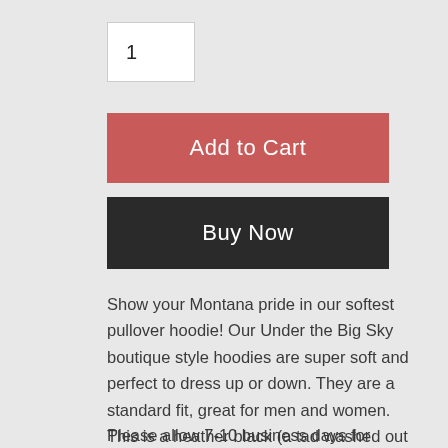1
Add to Cart
Buy Now
Show your Montana pride in our softest pullover hoodie! Our Under the Big Sky boutique style hoodies are super soft and perfect to dress up or down. They are a standard fit, great for men and women. This is a heather black (a tad washed out - not stark black) hoodie with white Under the Big Sky decal.
Please allow 7-10 business days for